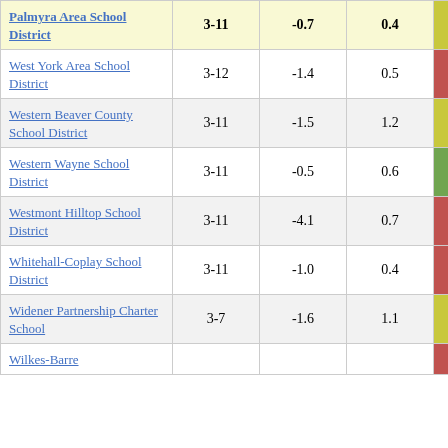| School District | Grades | Col3 | Col4 | Score |
| --- | --- | --- | --- | --- |
| Palmyra Area School District | 3-11 | -0.7 | 0.4 | -1.68 |
| West York Area School District | 3-12 | -1.4 | 0.5 | -2.97 |
| Western Beaver County School District | 3-11 | -1.5 | 1.2 | -1.25 |
| Western Wayne School District | 3-11 | -0.5 | 0.6 | -0.81 |
| Westmont Hilltop School District | 3-11 | -4.1 | 0.7 | -6.24 |
| Whitehall-Coplay School District | 3-11 | -1.0 | 0.4 | -2.56 |
| Widener Partnership Charter School | 3-7 | -1.6 | 1.1 | -1.43 |
| Wilkes-Barre |  |  |  |  |